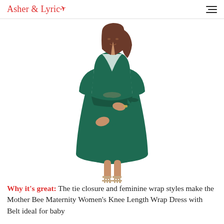Asher & Lyric
[Figure (photo): A pregnant woman modeling a dark green (teal) knee-length wrap dress with half-length sleeves, tie closure at waist, and wearing strappy heeled sandals. White background product photo.]
Why it's great: The tie closure and feminine wrap styles make the Mother Bee Maternity Women's Knee Length Wrap Dress with Belt ideal for baby